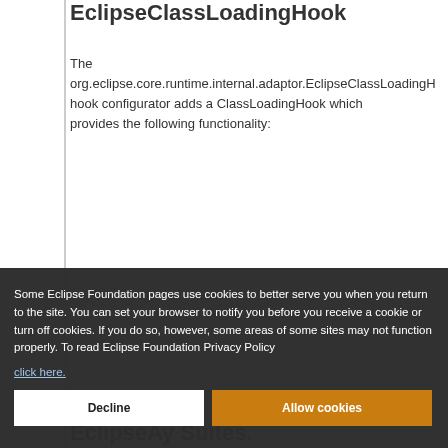EclipseClassLoadingHook
The org.eclipse.core.runtime.internal.adaptor.EclipseClassLoadingH hook configurator adds a ClassLoadingHook which provides the following functionality:
[Figure (screenshot): Cookie consent overlay with dark background. Text: 'Some Eclipse Foundation pages use cookies to better serve you when you return to the site. You can set your browser to notify you before you receive a cookie or turn off cookies. If you do so, however, some areas of some sites may not function properly. To read Eclipse Foundation Privacy Policy click here.' Two buttons: 'Decline' (white) and 'Allow cookies' (orange).]
EclipseAy Suites.